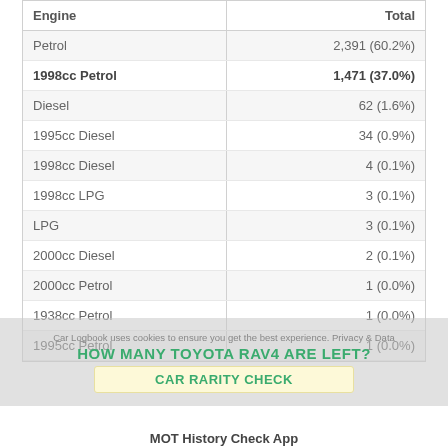| Engine | Total |
| --- | --- |
| Petrol | 2,391 (60.2%) |
| 1998cc Petrol | 1,471 (37.0%) |
| Diesel | 62 (1.6%) |
| 1995cc Diesel | 34 (0.9%) |
| 1998cc Diesel | 4 (0.1%) |
| 1998cc LPG | 3 (0.1%) |
| LPG | 3 (0.1%) |
| 2000cc Diesel | 2 (0.1%) |
| 2000cc Petrol | 1 (0.0%) |
| 1938cc Petrol | 1 (0.0%) |
| 1995cc Petrol | 1 (0.0%) |
Car Logbook uses cookies to ensure you get the best experience. Privacy & Data
HOW MANY TOYOTA RAV4 ARE LEFT?
CAR RARITY CHECK
MOT History Check App